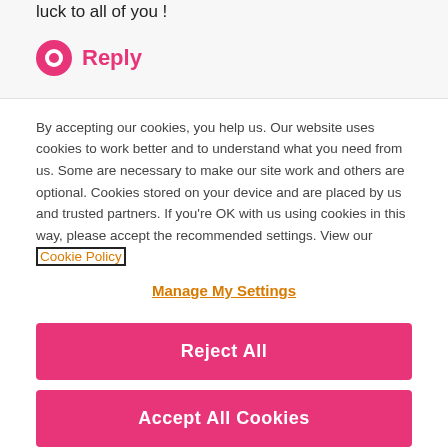luck to all of you !
Reply
By accepting our cookies, you help us. Our website uses cookies to work better and to understand what you need from us. Some are necessary to make our site work and others are optional. Cookies stored on your device and are placed by us and trusted partners. If you're OK with us using cookies in this way, please accept the recommended settings. View our Cookie Policy
Manage My Settings
Reject All
Accept All Cookies